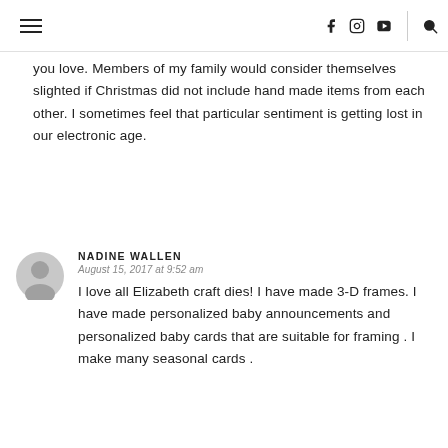Navigation bar with hamburger menu, social icons (Facebook, Instagram, YouTube), and search
you love. Members of my family would consider themselves slighted if Christmas did not include hand made items from each other. I sometimes feel that particular sentiment is getting lost in our electronic age.
NADINE WALLEN
August 15, 2017 at 9:52 am
I love all Elizabeth craft dies! I have made 3-D frames. I have made personalized baby announcements and personalized baby cards that are suitable for framing . I make many seasonal cards .